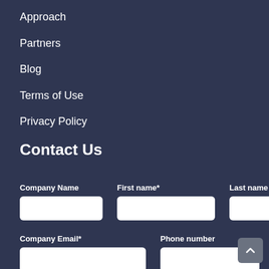Approach
Partners
Blog
Terms of Use
Privacy Policy
Contact Us
Company Name  First name*  Last name
Company Email*  Phone number